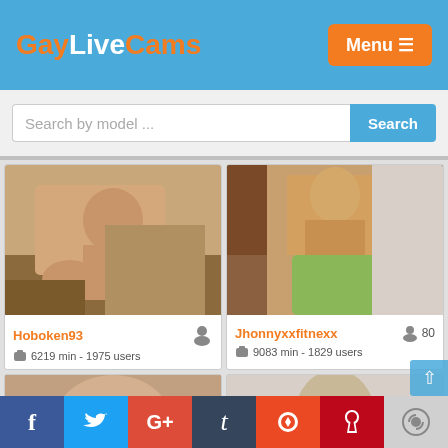GayLiveCams  Menu
Search by model ...
[Figure (screenshot): Webcam thumbnail of user Hoboken93]
Hoboken93
6219 min - 1975 users
[Figure (screenshot): Webcam thumbnail of user Jhonnyxxfitnexx, showing muscular man in green shorts]
Jhonnyxxfitnexx  80
9083 min - 1829 users
[Figure (screenshot): Partial webcam thumbnail (bottom row left)]
[Figure (screenshot): Partial webcam thumbnail (bottom row right)]
f  t  G+  t  su  p  reddit